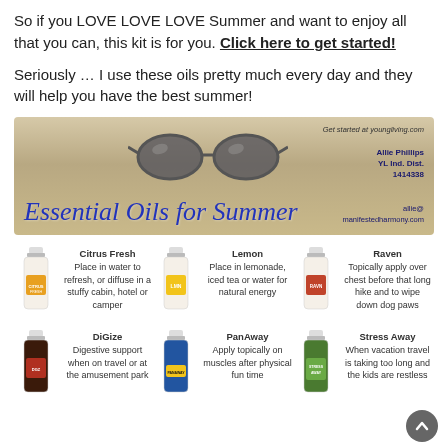So if you LOVE LOVE LOVE Summer and want to enjoy all that you can, this kit is for you. Click here to get started!
Seriously … I use these oils pretty much every day and they will help you have the best summer!
[Figure (photo): Banner image showing sunglasses on sand beach with text 'Essential Oils for Summer' in blue cursive script. Contact info: Allie Phillips, YL Ind. Dist. 1414338, allie@manifestedharmony.com, Get started at youngliving.com]
[Figure (infographic): Grid of 6 essential oil bottles with names and usage descriptions. Row 1: Citrus Fresh - Place in water to refresh, or diffuse in a stuffy cabin, hotel or camper; Lemon - Place in lemonade, iced tea or water for natural energy; Raven - Topically apply over chest before that long hike and to wipe down dog paws. Row 2: DiGize - Digestive support when on travel or at the amusement park; PanAway - Apply topically on muscles after physical fun time; Stress Away - When vacation travel is taking too long and the kids are restless.]